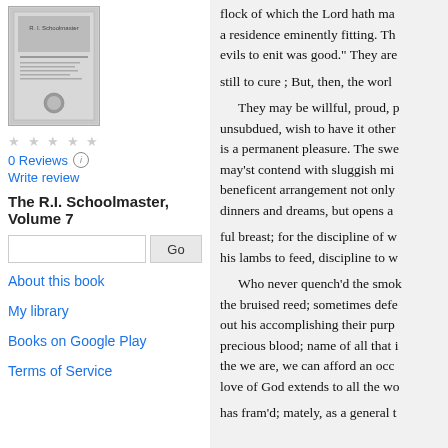[Figure (photo): Book cover thumbnail for The R.I. Schoolmaster Volume 7]
0 Reviews
Write review
The R.I. Schoolmaster, Volume 7
Go (search box with Go button)
About this book
My library
Books on Google Play
Terms of Service
flock of which the Lord hath ma
a residence eminently fitting. Th
evils to enit was good." They are
still to cure ; But, then, the worl
They may be willful, proud, p
unsubdued, wish to have it other
is a permanent pleasure. The swe
may'st contend with sluggish mi
beneficent arrangement not only
dinners and dreams, but opens a
ful breast; for the discipline of w
his lambs to feed, discipline to w
Who never quench'd the smok
the bruised reed; sometimes defe
out his accomplishing their purp
precious blood; name of all that i
the we are, we can afford an occ
love of God extends to all the wo
has fram'd; mately, as a general t